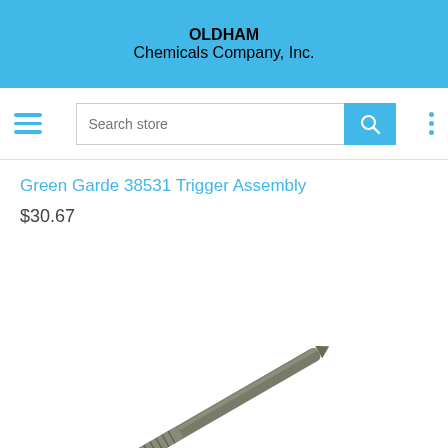OLDHAM Chemicals Company, Inc.
Green Garde 38531 Trigger Assembly
$30.67
[Figure (photo): Product photo of a metal screw/rod component (Green Garde 38531 Trigger Assembly), showing a narrow threaded metal pin or bolt at an angle against a white background.]